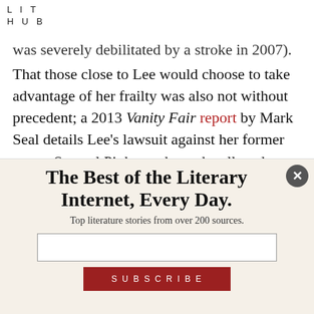LIT
HUB
was severely debilitated by a stroke in 2007).
That those close to Lee would choose to take advantage of her frailty was also not without precedent; a 2013 Vanity Fair report by Mark Seal details Lee’s lawsuit against her former agent, Samuel Pinkus, whom she alleged duped her into assigning him the copyright to To Kill a
The Best of the Literary Internet, Every Day.
Top literature stories from over 200 sources.
SUBSCRIBE